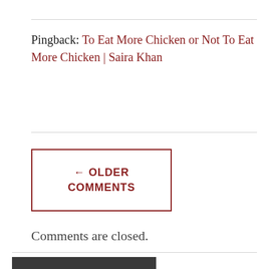Pingback: To Eat More Chicken or Not To Eat More Chicken | Saira Khan
← OLDER COMMENTS
Comments are closed.